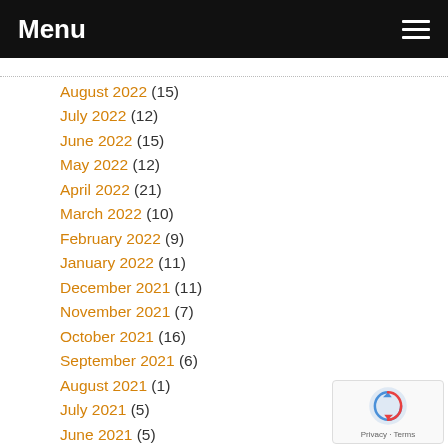Menu
August 2022 (15)
July 2022 (12)
June 2022 (15)
May 2022 (12)
April 2022 (21)
March 2022 (10)
February 2022 (9)
January 2022 (11)
December 2021 (11)
November 2021 (7)
October 2021 (16)
September 2021 (6)
August 2021 (1)
July 2021 (5)
June 2021 (5)
May 2021 (2)
April 2021 (39)